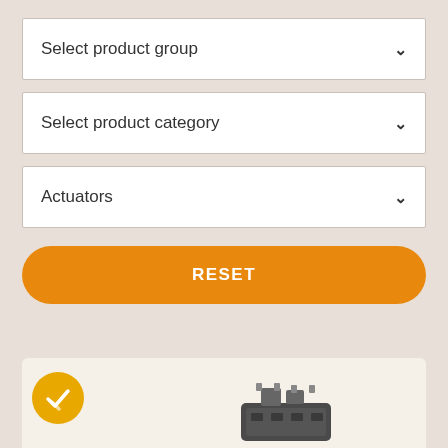Select product group
Select product category
Actuators
RESET
[Figure (screenshot): A product card at the bottom with an orange checkmark badge and a partial image of an industrial device/actuator]